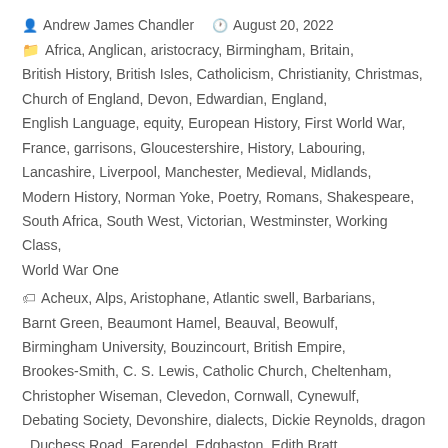Andrew James Chandler   August 20, 2022
Africa, Anglican, aristocracy, Birmingham, Britain, British History, British Isles, Catholicism, Christianity, Christmas, Church of England, Devon, Edwardian, England, English Language, equity, European History, First World War, France, garrisons, Gloucestershire, History, Labouring, Lancashire, Liverpool, Manchester, Medieval, Midlands, Modern History, Norman Yoke, Poetry, Romans, Shakespeare, South Africa, South West, Victorian, Westminster, Working Class, World War One
Acheux, Alps, Aristophane, Atlantic swell, Barbarians, Barnt Green, Beaumont Hamel, Beauval, Beowulf, Birmingham University, Bouzincourt, British Empire, Brookes-Smith, C. S. Lewis, Catholic Church, Cheltenham, Christopher Wiseman, Clevedon, Cornwall, Cynewulf, Debating Society, Devonshire, dialects, Dickie Reynolds, dragon, Duchess Road, Earendel, Edgbaston, Edith Bratt, Exeter College, Eye of Sauron, fairy tales